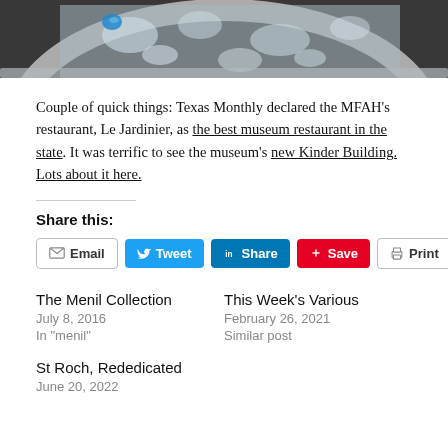[Figure (photo): Close-up photo of a bowl or fountain with bubbling water and a blue glass or gem object visible, on a dark granite surface.]
Couple of quick things: Texas Monthly declared the MFAH's restaurant, Le Jardinier, as the best museum restaurant in the state. It was terrific to see the museum's new Kinder Building. Lots about it here.
Share this:
Email Tweet Share Save Print
The Menil Collection
July 8, 2016
In "menil"
This Week's Various
February 26, 2021
Similar post
St Roch, Rededicated
June 20, 2022